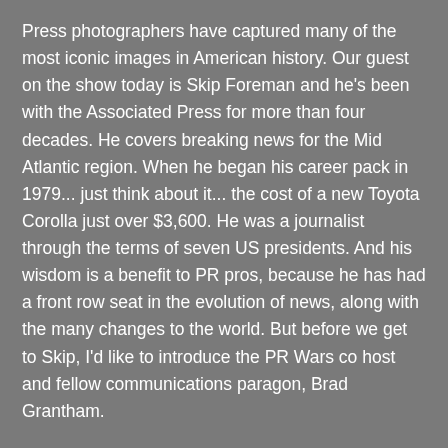Press photographers have captured many of the most iconic images in American history. Our guest on the show today is Skip Foreman and he's been with the Associated Press for more than four decades. He covers breaking news for the Mid Atlantic region. When he began his career pack in 1979... just think about it... the cost of a new Toyota Corolla just over $3,600. He was a journalist through the terms of seven US presidents. And his wisdom is a benefit to PR pros, because he has had a front row seat in the evolution of news, along with the many changes to the world. But before we get to Skip, I'd like to introduce the PR Wars co host and fellow communications paragon, Brad Grantham.
Brad Grantham
Thanks, Chris. I've known Skip for close to 20